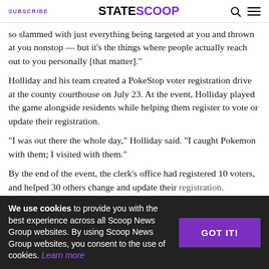SUBSCRIBE | STATESCOOP
so slammed with just everything being targeted at you and thrown at you nonstop — but it's the things where people actually reach out to you personally [that matter]."
Holliday and his team created a PokeStop voter registration drive at the county courthouse on July 23. At the event, Holliday played the game alongside residents while helping them register to vote or update their registration.
"I was out there the whole day," Holliday said. "I caught Pokemon with them; I visited with them."
By the end of the event, the clerk's office had registered 10 voters, and helped 30 others change and update their registration.
"I'm all about trying to find new and interesting ways to get people involved and get people registered and excited and enthusiastic about the voting process," Holliday said. "It's something that's important
We use cookies to provide you with the best experience across all Scoop News Group websites. By using Scoop News Group websites, you consent to the use of cookies. Learn more